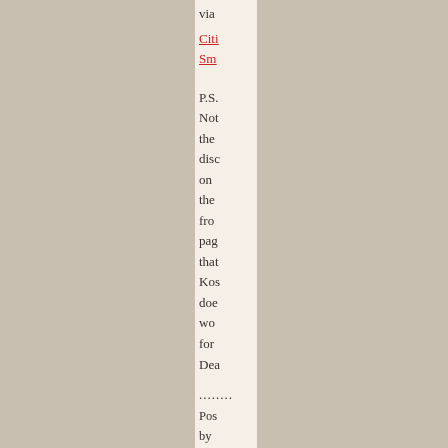via
Citi Sm
P.S. Not the disc on the fro pag that Kos doe wo for Dea
........ Pos by Sa on No 14, 200 at 00: